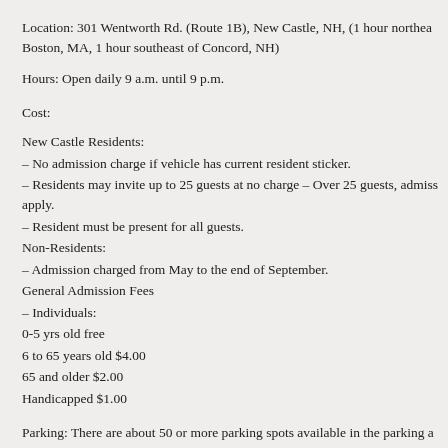Location: 301 Wentworth Rd. (Route 1B), New Castle, NH, (1 hour northea Boston, MA, 1 hour southeast of Concord, NH)
Hours: Open daily 9 a.m. until 9 p.m.
Cost:
New Castle Residents:
– No admission charge if vehicle has current resident sticker.
– Residents may invite up to 25 guests at no charge – Over 25 guests, admiss apply.
– Resident must be present for all guests.
Non-Residents:
– Admission charged from May to the end of September.
General Admission Fees
– Individuals:
0-5 yrs old free
6 to 65 years old $4.00
65 and older $2.00
Handicapped $1.00
Parking: There are about 50 or more parking spots available in the parking a
Handicapped Accessible: Yes
Dog Friendly: Yes, seasonally (pets are not allowed in the park or on the bea